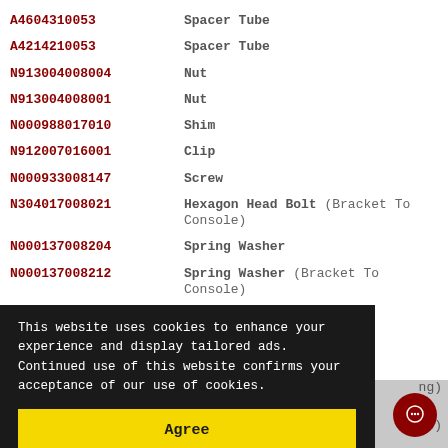A4604310053   Spacer Tube
A4214210053   Spacer Tube
N913004008004   Nut
N913004008001   Nut
N000988017010   Shim
N912007016001   Clip
N000933008147   Screw
N304017008021   Hexagon Head Bolt (Bracket To Console)
N000137008204   Spring Washer
N000137008212   Spring Washer (Bracket To Console)
N304032008006   Hexagon Nut (Bracket To Console)
This website uses cookies to enhance your experience and display tailored ads. Continued use of this website confirms your acceptance of our use of cookies.
Agree